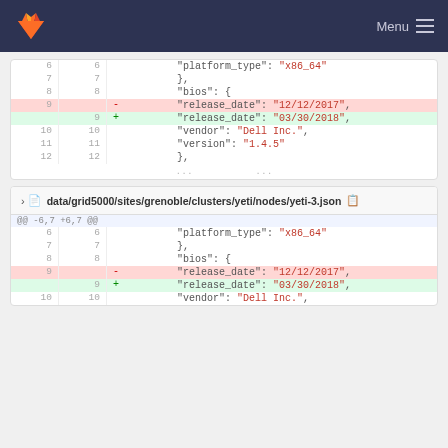GitLab — Menu
[Figure (screenshot): Git diff view showing two file changes. First diff block (unnamed file, partial): lines 6-12 and ellipsis, with line 9 changed from '12/12/2017' to '03/30/2018'. Second diff block: data/grid5000/sites/grenoble/clusters/yeti/nodes/yeti-3.json, same change.]
data/grid5000/sites/grenoble/clusters/yeti/nodes/yeti-3.json